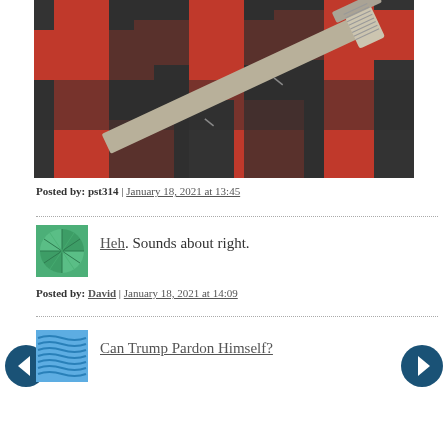[Figure (illustration): Abstract artwork with dark background featuring red geometric cross/crucifix shapes and a diagonal grey/beige bar or sword element crossing the composition]
Posted by: pst314 | January 18, 2021 at 13:45
Heh. Sounds about right.
Posted by: David | January 18, 2021 at 14:09
[Figure (illustration): Blue wavy lines avatar icon for next commenter]
Can Trump Pardon Himself?